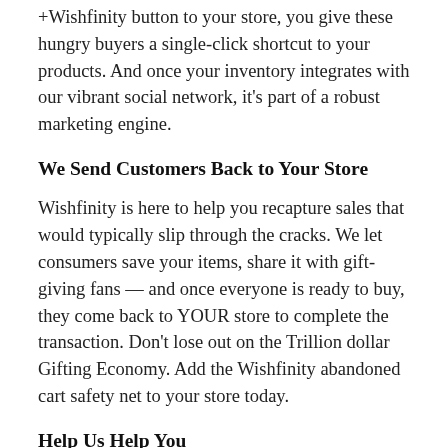+Wishfinity button to your store, you give these hungry buyers a single-click shortcut to your products. And once your inventory integrates with our vibrant social network, it's part of a robust marketing engine.
We Send Customers Back to Your Store
Wishfinity is here to help you recapture sales that would typically slip through the cracks. We let consumers save your items, share it with gift-giving fans — and once everyone is ready to buy, they come back to YOUR store to complete the transaction. Don't lose out on the Trillion dollar Gifting Economy. Add the Wishfinity abandoned cart safety net to your store today.
Help Us Help You
Please let us know how we can make the app better